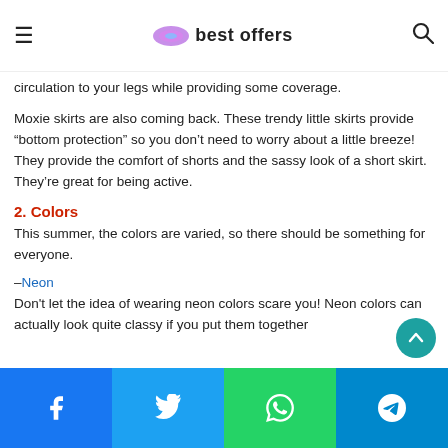best offers
circulation to your legs while providing some coverage.
Moxie skirts are also coming back. These trendy little skirts provide “bottom protection” so you don’t need to worry about a little breeze! They provide the comfort of shorts and the sassy look of a short skirt. They’re great for being active.
2. Colors
This summer, the colors are varied, so there should be something for everyone.
–Neon
Don't let the idea of wearing neon colors scare you! Neon colors can actually look quite classy if you put them together